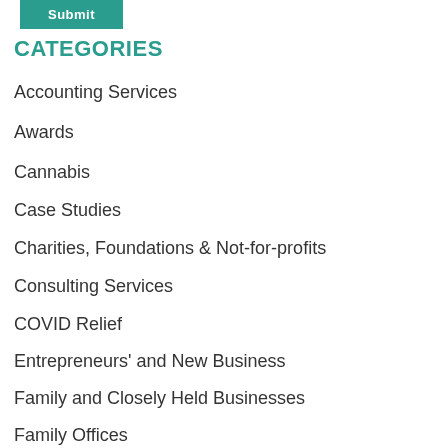[Figure (other): Teal/green Submit button]
CATEGORIES
Accounting Services
Awards
Cannabis
Case Studies
Charities, Foundations & Not-for-profits
Consulting Services
COVID Relief
Entrepreneurs' and New Business
Family and Closely Held Businesses
Family Offices